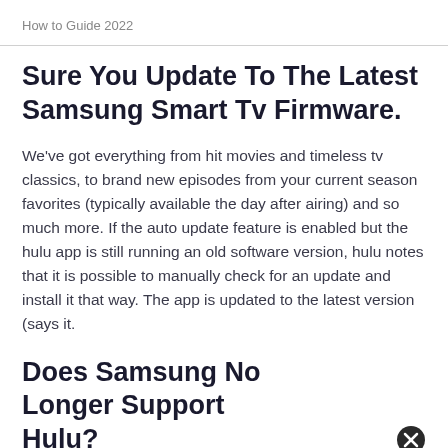How to Guide 2022
Sure You Update To The Latest Samsung Smart Tv Firmware.
We've got everything from hit movies and timeless tv classics, to brand new episodes from your current season favorites (typically available the day after airing) and so much more. If the auto update feature is enabled but the hulu app is still running an old software version, hulu notes that it is possible to manually check for an update and install it that way. The app is updated to the latest version (says it.
Does Samsung No Longer Support Hulu?